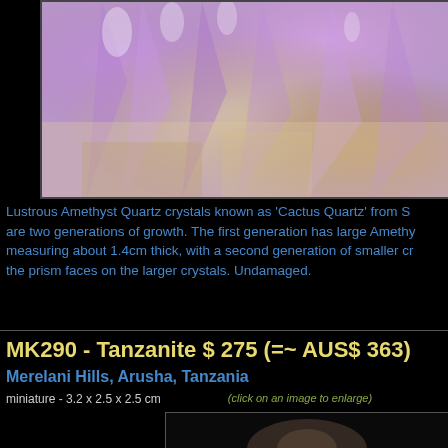[Figure (photo): Close-up macro photograph of lustrous Amethyst Quartz crystals (Cactus Quartz) showing purple/violet crystal points with white/golden matrix base]
Lustrous Amethyst Quartz crystals known as 'Cactus Quartz' from S... are two generations of growth. The first generation has large Amethy... measuring about 1.4cm thick, with a second generation of smaller cr... the prism faces on the larger crystals. Undamaged.
MK290 - Tanzanite $ 275 (=~ AUS$ 363)
Merelani Hills, Arusha, Tanzania
miniature - 3.2 x 2.5 x 2.5 cm
(click on an image to enlarge)
[Figure (photo): Partial photo of a Tanzanite mineral specimen, partially visible at bottom of page]